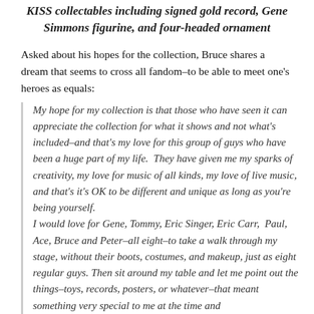KISS collectables including signed gold record, Gene Simmons figurine, and four-headed ornament
Asked about his hopes for the collection, Bruce shares a dream that seems to cross all fandom–to be able to meet one's heroes as equals:
My hope for my collection is that those who have seen it can appreciate the collection for what it shows and not what's included–and that's my love for this group of guys who have been a huge part of my life.  They have given me my sparks of creativity, my love for music of all kinds, my love of live music, and that's it's OK to be different and unique as long as you're being yourself.
I would love for Gene, Tommy, Eric Singer, Eric Carr,  Paul, Ace, Bruce and Peter–all eight–to take a walk through my stage, without their boots, costumes, and makeup, just as eight regular guys. Then sit around my table and let me point out the things–toys, records, posters, or whatever–that meant something very special to me at the time and